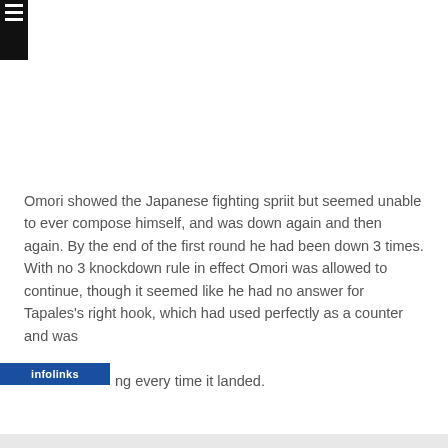[Figure (screenshot): Navigation hamburger menu icon (three white horizontal lines) on a black rectangle in top-left corner of the page]
Omori showed the Japanese fighting spriit but seemed unable to ever compose himself, and was down again and then again. By the end of the first round he had been down 3 times. With no 3 knockdown rule in effect Omori was allowed to continue, though it seemed like he had no answer for Tapales's right hook, which had used perfectly as a counter and was ng every time it landed.
[Figure (screenshot): Infolinks advertisement overlay with Frontgate SALES ad banner showing 'Up to 30% off sitewide from August 23-25' and www.frontgate.com URL, with a bedroom image on the left and navigation arrow on the right]